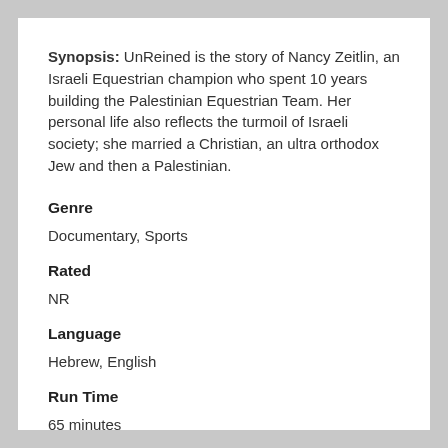Synopsis: UnReined is the story of Nancy Zeitlin, an Israeli Equestrian champion who spent 10 years building the Palestinian Equestrian Team. Her personal life also reflects the turmoil of Israeli society; she married a Christian, an ultra orthodox Jew and then a Palestinian.
Genre
Documentary, Sports
Rated
NR
Language
Hebrew, English
Run Time
65 minutes